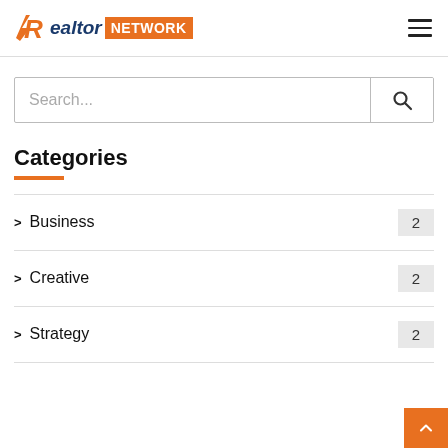[Figure (logo): Realtor Network logo with orange R icon, blue italic 'Realtor' text, and orange 'NETWORK' badge]
Search...
Categories
Business 2
Creative 2
Strategy 2